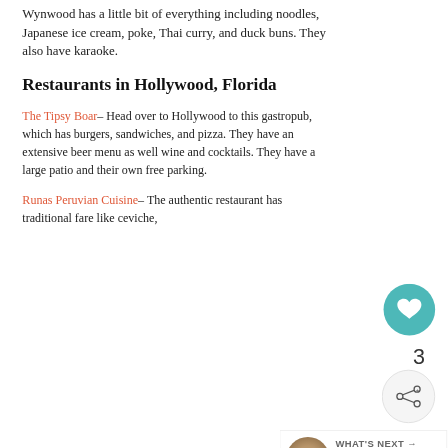Wynwood has a little bit of everything including noodles, Japanese ice cream, poke, Thai curry, and duck buns. They also have karaoke.
Restaurants in Hollywood, Florida
The Tipsy Boar– Head over to Hollywood to this gastropub, which has burgers, sandwiches, and pizza. They have an extensive beer menu as well wine and cocktails. They have a large patio and their own free parking.
Runas Peruvian Cuisine– The authentic restaurant has traditional fare like ceviche,
[Figure (other): Blue advertisement banner at bottom of page]
[Figure (other): What's Next widget showing a football fan's guide article thumbnail]